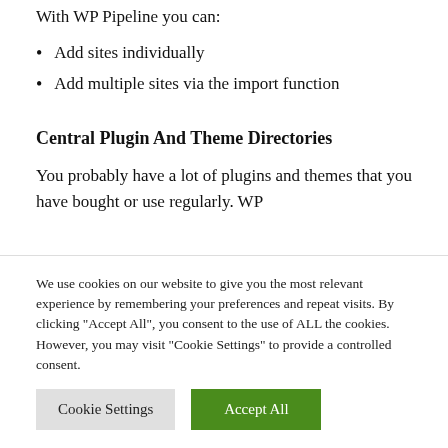With WP Pipeline you can:
Add sites individually
Add multiple sites via the import function
Central Plugin And Theme Directories
You probably have a lot of plugins and themes that you have bought or use regularly. WP
We use cookies on our website to give you the most relevant experience by remembering your preferences and repeat visits. By clicking "Accept All", you consent to the use of ALL the cookies. However, you may visit "Cookie Settings" to provide a controlled consent.